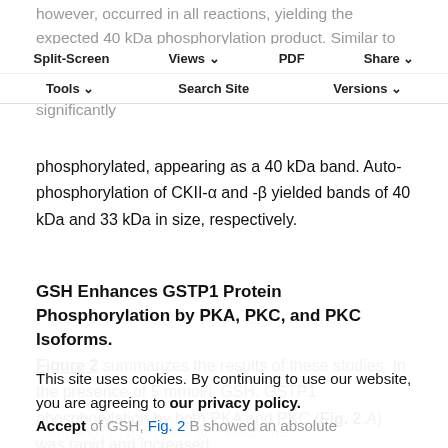however, occurred in all reactions, yielding the expected 40 kDa phosphorylation product. Similar to PKA, no GSTP1 phosphorylation was observed with CKII, although c-jun, a natural CKII substrate, was significantly
Split-Screen  Views  PDF  Share  Tools  Search Site  Versions
phosphorylated, appearing as a 40 kDa band. Auto-phosphorylation of CKII-α and -β yielded bands of 40 kDa and 33 kDa in size, respectively.
GSH Enhances GSTP1 Protein Phosphorylation by PKA, PKC, and PKC Isoforms.
Figure 2 summarizes the results of these studies. In the presence of 5 mmol/L GSH, GSTP1 phosphorylation by both PKA and PKC (Fig. 2.A) was rapid and increased
This site uses cookies. By continuing to use our website, you are agreeing to our privacy policy. Accept of GSH, Fig. 2 B showed an absolute